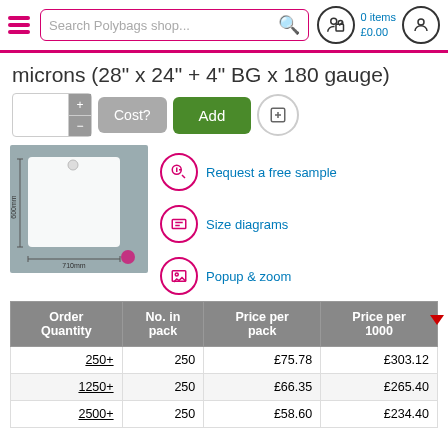Search Polybags shop... | 0 items £0.00
microns (28" x 24" + 4" BG x 180 gauge)
[Figure (screenshot): Product image of a large polybag with dimensions 600mm x 710mm shown on a grey background]
Request a free sample | Size diagrams | Popup & zoom
| Order Quantity | No. in pack | Price per pack | Price per 1000 |
| --- | --- | --- | --- |
| 250+ | 250 | £75.78 | £303.12 |
| 1250+ | 250 | £66.35 | £265.40 |
| 2500+ | 250 | £58.60 | £234.40 |